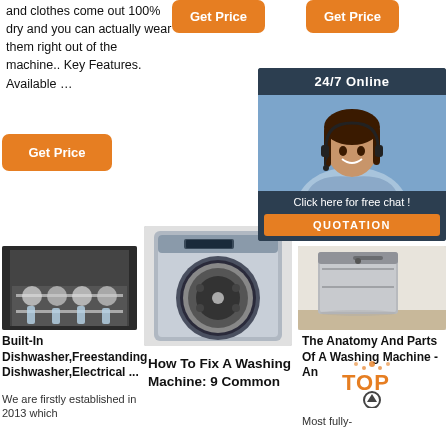and clothes come out 100% dry and you can actually wear them right out of the machine.. Key Features. Available …
Get Price
Get Price
Get Price
[Figure (other): Chat widget with '24/7 Online' header, customer service representative photo, 'Click here for free chat!' text, and orange QUOTATION button]
[Figure (photo): Built-in dishwasher with open door showing dishes inside]
[Figure (photo): Front-loading washing machine, silver/grey color]
[Figure (photo): Freestanding dishwasher, stainless steel]
Built-In Dishwasher,Freestanding Dishwasher,Electrical ...
How To Fix A Washing Machine: 9 Common
The Anatomy And Parts Of A Washing Machine - An
We are firstly established in 2013 which
Most fully-